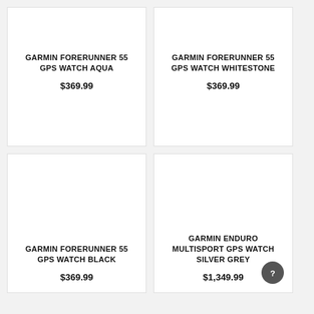GARMIN FORERUNNER 55 GPS WATCH AQUA
$369.99
GARMIN FORERUNNER 55 GPS WATCH WHITESTONE
$369.99
[Figure (photo): Product image placeholder for Garmin Forerunner 55 GPS Watch Black]
GARMIN FORERUNNER 55 GPS WATCH BLACK
$369.99
[Figure (photo): Product image placeholder for Garmin Enduro Multisport GPS Watch Silver Grey]
GARMIN ENDURO MULTISPORT GPS WATCH SILVER GREY
$1,349.99